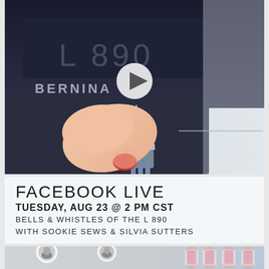[Figure (photo): Close-up photo of a BERNINA L 890 sewing/overlock machine with a hand (red-painted fingernails) touching the presser foot area. A white play button triangle overlay is visible in the center, indicating a video. The machine label 'L 890' and 'BERNINA' branding are visible on the dark machine body.]
FACEBOOK LIVE
TUESDAY, AUG 23 @ 2 PM CST
BELLS & WHISTLES OF THE L 890
WITH SOOKIE SEWS & SILVIA SUTTERS
[Figure (photo): Partial photo at the bottom showing two people (possibly hosts) and spools of thread in the background, cropped.]